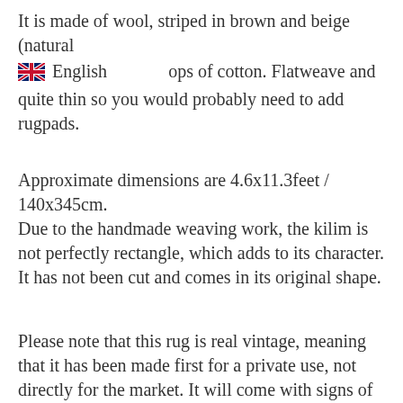It is made of wool, striped in brown and beige (natural ops of cotton. Flatweave and quite thin so you would probably need to add rugpads.
[Figure (other): UK flag icon with 'English' label — browser translation UI bar]
Approximate dimensions are 4.6x11.3feet / 140x345cm.
Due to the handmade weaving work, the kilim is not perfectly rectangle, which adds to its character. It has not been cut and comes in its original shape.
Please note that this rug is real vintage, meaning that it has been made first for a private use, not directly for the market. It will come with signs of age. It is stained on a few areas, Stains that won't go away with cleaning as the item has been cleaned with soap and water already. That said, the rug is in good vintage condition as you can see on the pictures attached.